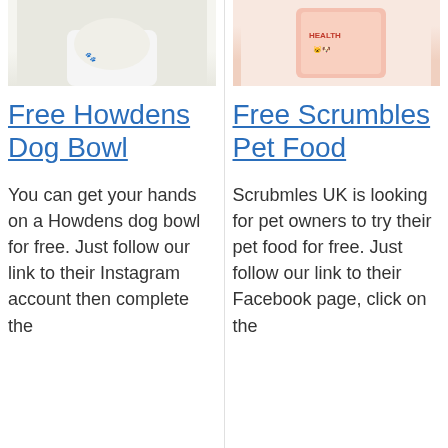[Figure (photo): Photo of a white dog near a Howdens dog bowl]
Free Howdens Dog Bowl
You can get your hands on a Howdens dog bowl for free. Just follow our link to their Instagram account then complete the
[Figure (photo): Photo of Scrumbles pet food packaging with cats and dogs illustration]
Free Scrumbles Pet Food
Scrubmles UK is looking for pet owners to try their pet food for free. Just follow our link to their Facebook page, click on the